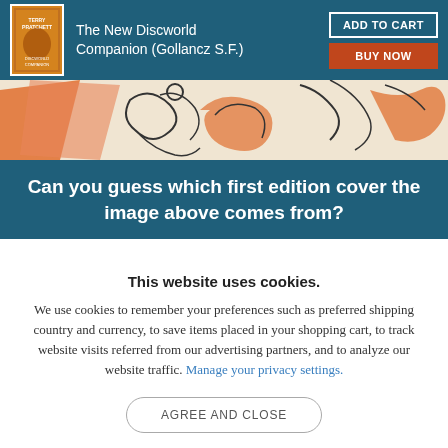[Figure (illustration): Book product header bar with book cover thumbnail, book title 'The New Discworld Companion (Gollancz S.F.)', Add to Cart button, and Buy Now button on dark teal background]
[Figure (illustration): Decorative illustration band showing orange/terracotta colored artistic figures and swirling lines on a cream background — a cropped portion of a book cover illustration]
Can you guess which first edition cover the image above comes from?
This website uses cookies.
We use cookies to remember your preferences such as preferred shipping country and currency, to save items placed in your shopping cart, to track website visits referred from our advertising partners, and to analyze our website traffic. Manage your privacy settings.
AGREE AND CLOSE